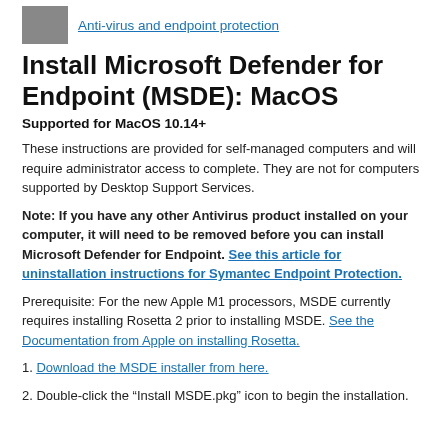Anti-virus and endpoint protection
Install Microsoft Defender for Endpoint (MSDE): MacOS
Supported for MacOS 10.14+
These instructions are provided for self-managed computers and will require administrator access to complete. They are not for computers supported by Desktop Support Services.
Note: If you have any other Antivirus product installed on your computer, it will need to be removed before you can install Microsoft Defender for Endpoint. See this article for uninstallation instructions for Symantec Endpoint Protection.
Prerequisite: For the new Apple M1 processors, MSDE currently requires installing Rosetta 2 prior to installing MSDE. See the Documentation from Apple on installing Rosetta.
1. Download the MSDE installer from here.
2. Double-click the “Install MSDE.pkg” icon to begin the installation.